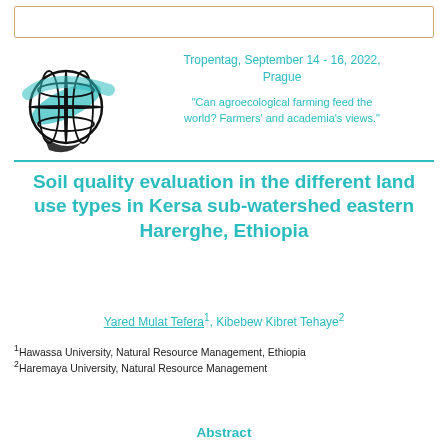[Figure (logo): Tropentag conference logo: stylized globe with teal swoosh and black sketch-style lines]
Tropentag, September 14 - 16, 2022, Prague
"Can agroecological farming feed the world? Farmers' and academia's views."
Soil quality evaluation in the different land use types in Kersa sub-watershed eastern Harerghe, Ethiopia
Yared Mulat Tefera1, Kibebew Kibret Tehaye2
1Hawassa University, Natural Resource Management, Ethiopia
2Haremaya University, Natural Resource Management
Abstract